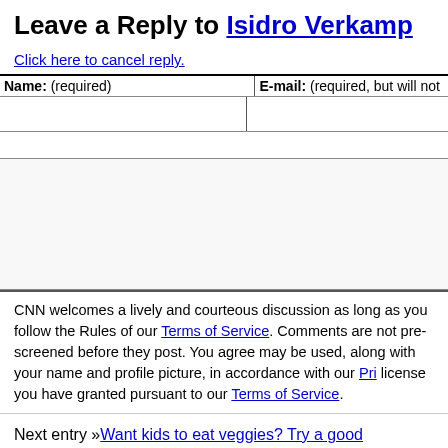Leave a Reply to Isidro Verkamp
Click here to cancel reply.
| Name: (required) | E-mail: (required, but will not be published) |
| --- | --- |
|  |  |
CNN welcomes a lively and courteous discussion as long as you follow the Rules of Conduct set forth in our Terms of Service. Comments are not pre-screened before they post. You agree that anything you post may be used, along with your name and profile picture, in accordance with our Privacy Policy and the license you have granted pursuant to our Terms of Service.
Next entry »Want kids to eat veggies? Try a good marketing plan!
« Previous entryYour preschooler thinks like a scientist